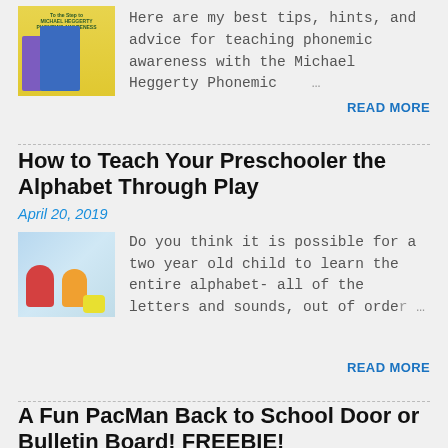[Figure (photo): Book cover for Michael Heggerty Phonemic Awareness book with yellow background, purple and blue book spines]
Here are my best tips, hints, and advice for teaching phonemic awareness with the Michael Heggerty Phonemic …
READ MORE
How to Teach Your Preschooler the Alphabet Through Play
April 20, 2019
[Figure (photo): Photo of two young children playing with toys, a boy in red and a child in orange, with colorful building blocks]
Do you think it is possible for a two year old child to learn the entire alphabet- all of the letters and sounds, out of orde… …
READ MORE
A Fun PacMan Back to School Door or Bulletin Board! FREEBIE!